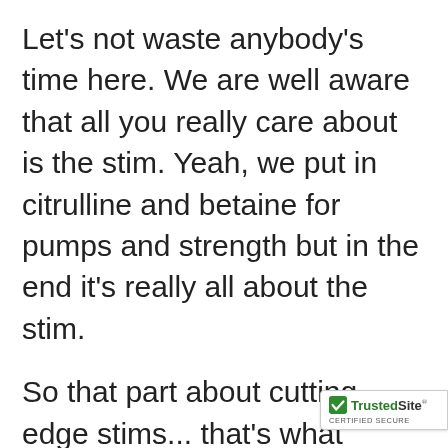Let's not waste anybody's time here. We are well aware that all you really care about is the stim. Yeah, we put in citrulline and betaine for pumps and strength but in the end it's really all about the stim.
So that part about cutting edge stims... that's what Kigelia Africana is. It's a traditional African extract used by locals for a ton of different health related functions. Kigelia is part of a new industry of compliance. In moving away from unlawful synthetic stimulants like DMAA
[Figure (logo): TrustedSite CERTIFIED SECURE badge with green checkmark]